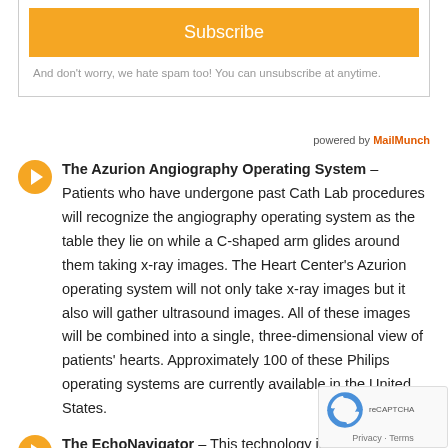[Figure (other): Subscribe button (orange) inside a subscription form box]
And don't worry, we hate spam too! You can unsubscribe at anytime.
powered by MailMunch
The Azurion Angiography Operating System – Patients who have undergone past Cath Lab procedures will recognize the angiography operating system as the table they lie on while a C-shaped arm glides around them taking x-ray images. The Heart Center's Azurion operating system will not only take x-ray images but it also will gather ultrasound images. All of these images will be combined into a single, three-dimensional view of patients' hearts. Approximately 100 of these Philips operating systems are currently available in the United States.
The EchoNavigator – This technology introduces "roa...